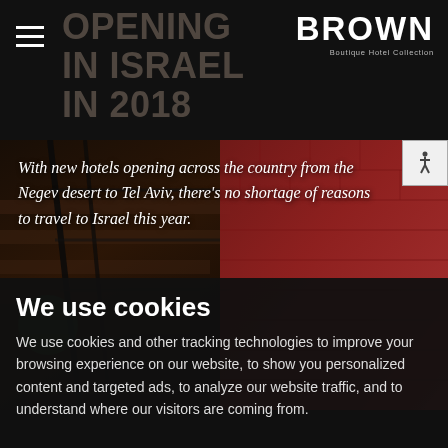OPENING IN ISRAEL IN 2018
BROWN
Boutique Hotel Collection
[Figure (photo): Interior photo of a hotel staircase with dark wooden steps and black iron railing on the left, and red exposed brick wall on the right, dimly lit with reddish ambiance.]
With new hotels opening across the country from the Negev desert to Tel Aviv, there's no shortage of reasons to travel to Israel this year.
We use cookies
We use cookies and other tracking technologies to improve your browsing experience on our website, to show you personalized content and targeted ads, to analyze our website traffic, and to understand where our visitors are coming from.